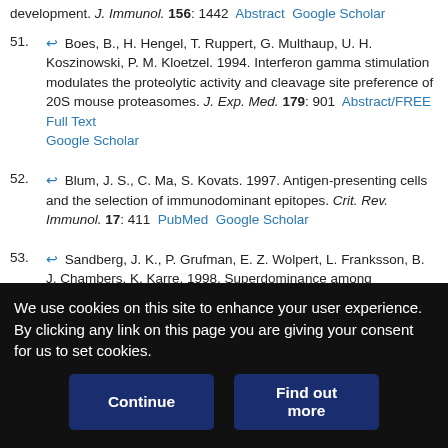development. J. Immunol. 156: 1442  Abstract  Google Scholar
51. ↩ Boes, B., H. Hengel, T. Ruppert, G. Multhaup, U. H. Koszinowski, P. M. Kloetzel. 1994. Interferon gamma stimulation modulates the proteolytic activity and cleavage site preference of 20S mouse proteasomes. J. Exp. Med. 179: 901  Abstract/FREE Full Text  Google Scholar
52. ↩ Blum, J. S., C. Ma, S. Kovats. 1997. Antigen-presenting cells and the selection of immunodominant epitopes. Crit. Rev. Immunol. 17: 411  PubMed  Google Scholar
53. ↩ Sandberg, J. K., P. Grufman, E. Z. Wolpert, L. Franksson, B. J. Chambers, K. Karre. 1998. Superdominance among immunodominant H-2Kb-restricted epitopes and reversal by dendritic cell-mediated antigen delivery. J. Immunol. 160: 3163  Abstract/FREE Full Text  Google Scholar
We use cookies on this site to enhance your user experience. By clicking any link on this page you are giving your consent for us to set cookies.